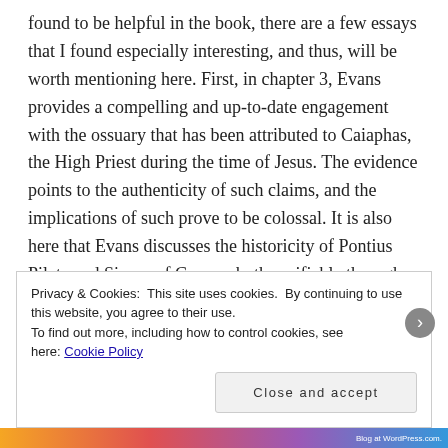found to be helpful in the book, there are a few essays that I found especially interesting, and thus, will be worth mentioning here. First, in chapter 3, Evans provides a compelling and up-to-date engagement with the ossuary that has been attributed to Caiaphas, the High Priest during the time of Jesus. The evidence points to the authenticity of such claims, and the implications of such prove to be colossal. It is also here that Evans discusses the historicity of Pontius Pilate and Simon of Cyrene, both verifiable through recent archaeological discoveries. Second, in chapters 6-8, Evans provides fascinating insight into the practice of crucifixion, burial, and specifically the execution of Jesus. All
Privacy & Cookies: This site uses cookies. By continuing to use this website, you agree to their use.
To find out more, including how to control cookies, see here: Cookie Policy
Close and accept